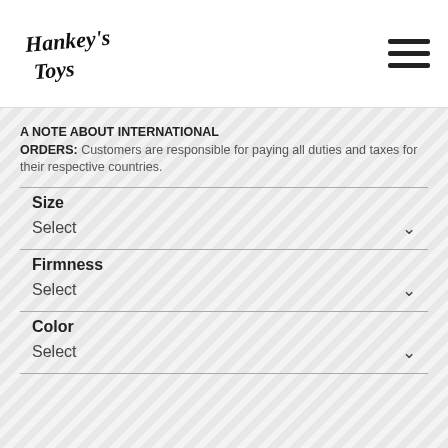Hankey's Toys
A NOTE ABOUT INTERNATIONAL ORDERS: Customers are responsible for paying all duties and taxes for their respective countries.
Size
Select
Firmness
Select
Color
Select